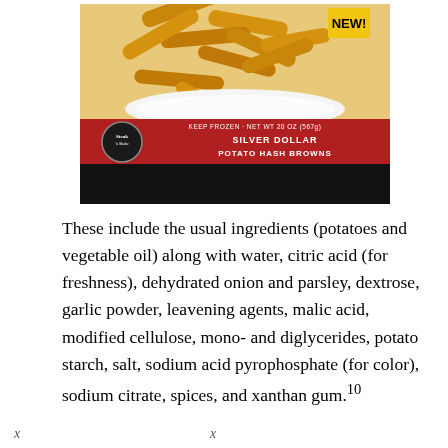[Figure (photo): Product photo of Steak 'n Shake Silver Dollar Potato Hash Browns package. Red packaging with 'NEW!' yellow badge. Text reads 'KEEP FROZEN · NET WT 20 OZ (567g)' and 'SILVER DOLLAR POTATO HASH BROWNS'. Shows crispy hash brown sticks in a bowl. Bottom portion is redacted/blacked out.]
These include the usual ingredients (potatoes and vegetable oil) along with water, citric acid (for freshness), dehydrated onion and parsley, dextrose, garlic powder, leavening agents, malic acid, modified cellulose, mono- and diglycerides, potato starch, salt, sodium acid pyrophosphate (for color), sodium citrate, spices, and xanthan gum.10